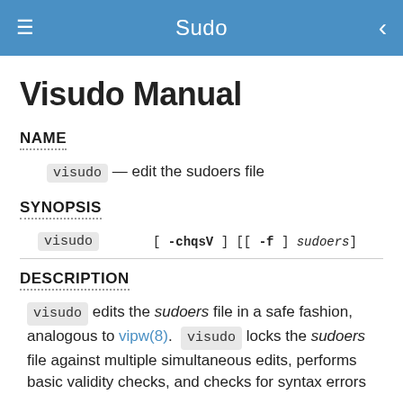Sudo
Visudo Manual
NAME
visudo — edit the sudoers file
SYNOPSIS
visudo [ -chqsV ] [[ -f ] sudoers]
DESCRIPTION
visudo edits the sudoers file in a safe fashion, analogous to vipw(8). visudo locks the sudoers file against multiple simultaneous edits, performs basic validity checks, and checks for syntax errors